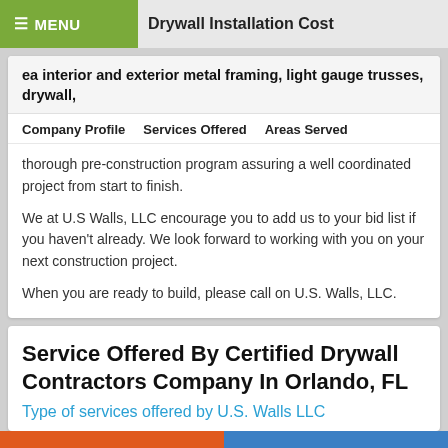Drywall Installation Cost
ea interior and exterior metal framing, light gauge trusses, drywall,
Company Profile   Services Offered   Areas Served
thorough pre-construction program assuring a well coordinated project from start to finish.
We at U.S Walls, LLC encourage you to add us to your bid list if you haven't already. We look forward to working with you on your next construction project.
When you are ready to build, please call on U.S. Walls, LLC.
Service Offered By Certified Drywall Contractors Company In Orlando, FL
Type of services offered by U.S. Walls LLC
Get Free Quotes   888-506-9527